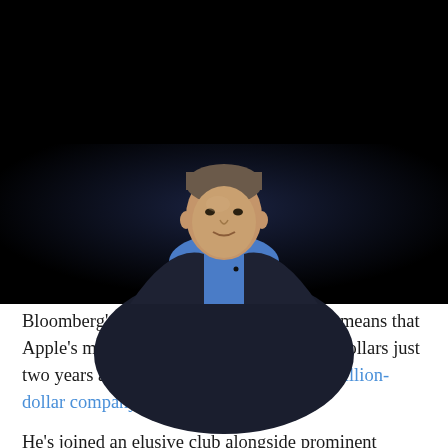[Figure (photo): Photo of Tim Cook, CEO of Apple, wearing a blue shirt and dark blazer, against a dark background, cropped at upper body]
Tim Cook, the CEO of Apple is the newest addition to the billionaires club after Apple's stock rose almost 5% last week and his personal wealth eclipsed $1 billion. Cook owns 847,969 shares in the California firm and last week's rise not only pushed him into Bloomberg's Billionaires Index, but it also means that Apple's market value is nearing $2 trillion dollars just two years after it became the world's first trillion-dollar company.
He's joined an elusive club alongside prominent names, including the founder and CEO of Microsoft Bill Gates,